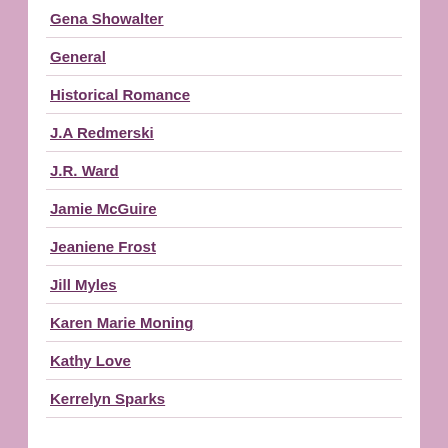Gena Showalter
General
Historical Romance
J.A Redmerski
J.R. Ward
Jamie McGuire
Jeaniene Frost
Jill Myles
Karen Marie Moning
Kathy Love
Kerrelyn Sparks